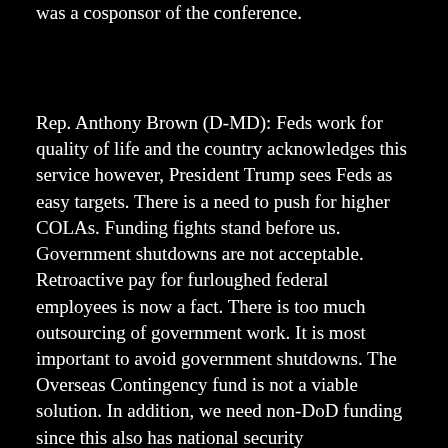was a cosponsor of the conference.
Rep. Anthony Brown (D-MD): Feds work for quality of life and the country acknowledges this service however, President Trump sees Feds as easy targets. There is a need to push for higher COLAs. Funding fights stand before us. Government shutdowns are not acceptable. Retroactive pay for furloughed federal employees is now a fact. There is too much outsourcing of government work. It is most important to avoid government shutdowns. The Overseas Contingency fund is not a viable solution. In addition, we need non-DoD funding since this also has national security